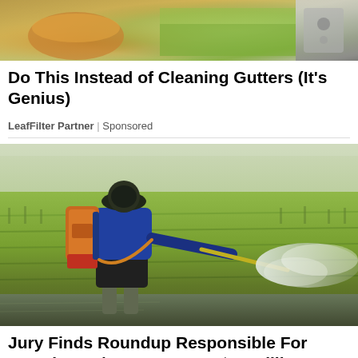[Figure (photo): Photo of a gutter guard product with orange/amber tones and metallic elements, top portion of ad image cropped]
Do This Instead of Cleaning Gutters (It's Genius)
LeafFilter Partner | Sponsored
[Figure (photo): Photo of a farmer/worker wearing a hat and face mask with a backpack pesticide sprayer, spraying chemicals over a green rice field paddock, with white spray mist visible]
Jury Finds Roundup Responsible For Lymphoma | Bayer To Pay $10 Billion...